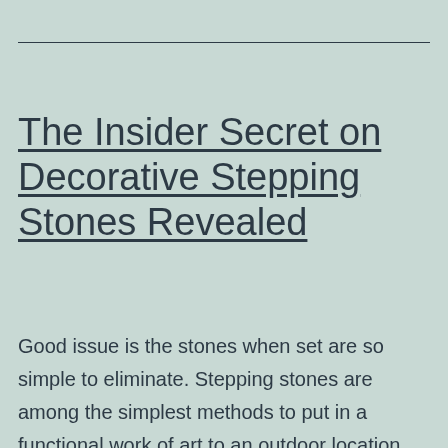The Insider Secret on Decorative Stepping Stones Revealed
Good issue is the stones when set are so simple to eliminate. Stepping stones are among the simplest methods to put in a functional work of art to an outdoor location. They are a great way to dress up your garden